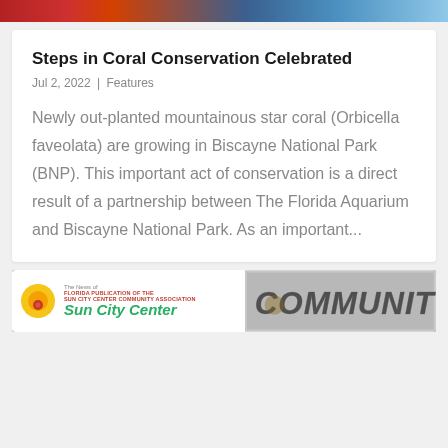[Figure (photo): Colorful image strip at top of page showing red and blue tones, likely a coral or aquarium photo]
Steps in Coral Conservation Celebrated
Jul 2, 2022 | Features
Newly out-planted mountainous star coral (Orbicella faveolata) are growing in Biscayne National Park (BNP). This important act of conservation is a direct result of a partnership between The Florida Aquarium and Biscayne National Park. As an important...
[Figure (logo): The News of Sun City Center banner advertisement with yellow sun logo on left and COMMUNITY text image on right]